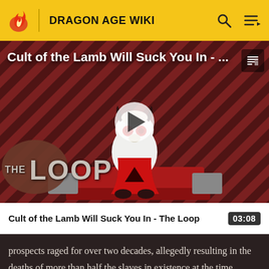DRAGON AGE WIKI
[Figure (screenshot): Video thumbnail showing Cult of the Lamb character on a red dais with diagonal stripe background and 'THE LOOP' logo overlay, with a play button in the center]
Cult of the Lamb Will Suck You In - The Loop
03:08
prospects raged for over two decades, allegedly resulting in the deaths of more than half the slaves in existence at the time. Emerius was finally chosen after Magister